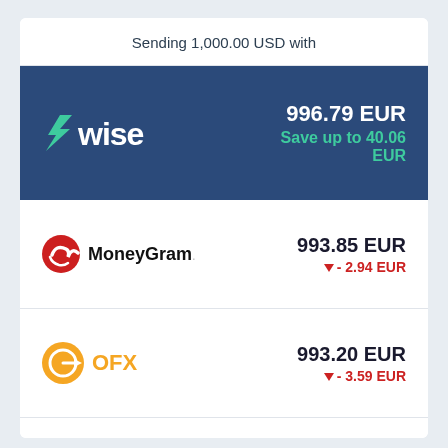Sending 1,000.00 USD with
[Figure (logo): Wise logo on dark blue background with amount 996.79 EUR and Save up to 40.06 EUR]
[Figure (logo): MoneyGram logo]
993.85 EUR ▼ - 2.94 EUR
[Figure (logo): OFX logo]
993.20 EUR ▼ - 3.59 EUR
[Figure (logo): XE logo]
992.90 EUR ▼ - 3.89 EUR